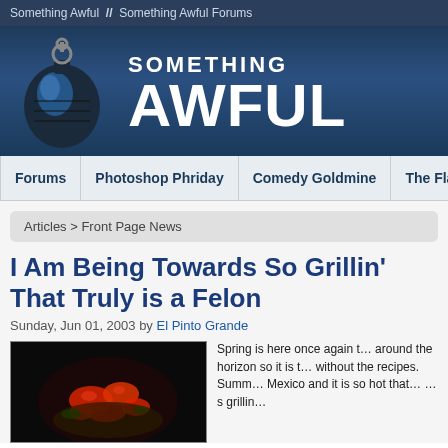Something Awful  //  Something Awful Forums
[Figure (logo): Something Awful website header with grenade logo and large white text reading SOMETHING AWFUL on dark blue background]
Forums | Photoshop Phriday | Comedy Goldmine | The Flash Tub | WTF, D...
Articles > Front Page News
I Am Being Towards So Grillin' That Truly is a Felon
Sunday, Jun 01, 2003 by El Pinto Grande
[Figure (photo): Dark photograph showing red flowers or lobsters in a basket]
Spring is here once again t... around the horizon so it is t... without the recipes. Summ... Mexico and it is so hot that... ...s grillin...